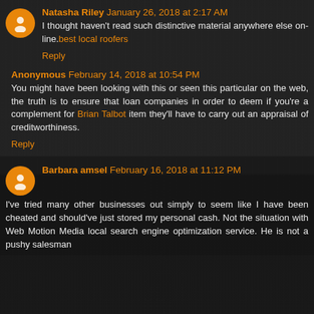Natasha Riley January 26, 2018 at 2:17 AM
I thought haven't read such distinctive material anywhere else on-line.best local roofers
Reply
Anonymous February 14, 2018 at 10:54 PM
You might have been looking with this or seen this particular on the web, the truth is to ensure that loan companies in order to deem if you're a complement for Brian Talbot item they'll have to carry out an appraisal of creditworthiness.
Reply
Barbara amsel February 16, 2018 at 11:12 PM
I've tried many other businesses out simply to seem like I have been cheated and should've just stored my personal cash. Not the situation with Web Motion Media local search engine optimization service. He is not a pushy salesman